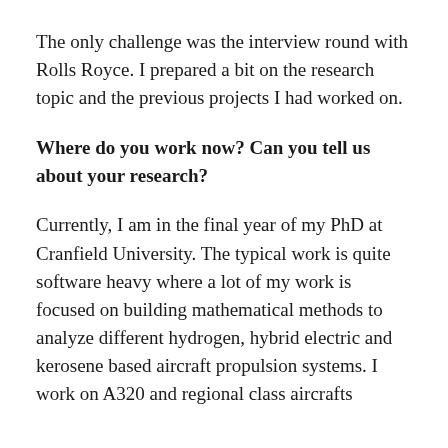The only challenge was the interview round with Rolls Royce. I prepared a bit on the research topic and the previous projects I had worked on.
Where do you work now? Can you tell us about your research?
Currently, I am in the final year of my PhD at Cranfield University. The typical work is quite software heavy where a lot of my work is focused on building mathematical methods to analyze different hydrogen, hybrid electric and kerosene based aircraft propulsion systems. I work on A320 and regional class aircrafts